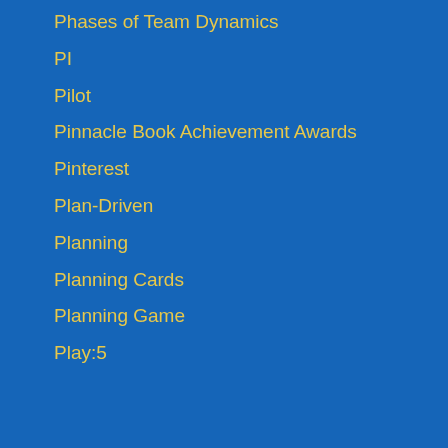Phases of Team Dynamics
PI
Pilot
Pinnacle Book Achievement Awards
Pinterest
Plan-Driven
Planning
Planning Cards
Planning Game
Play:5